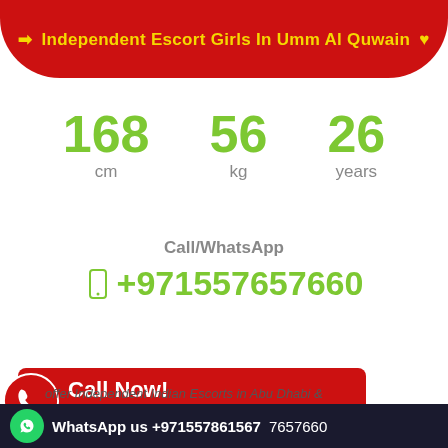Independent Escort Girls In Umm Al Quwain ♥
168 cm   56 kg   26 years
Call/WhatsApp
+971557657660
[Figure (infographic): Call Now! button with phone icon, showing +971557861567]
26 years old Female from
WhatsApp us +971557861567  7657660
offer Independent Indian Escorts in Abu Dhabi &